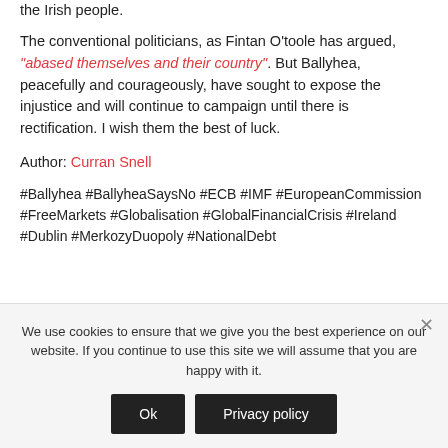the Irish people.
The conventional politicians, as Fintan O'toole has argued, "abased themselves and their country". But Ballyhea, peacefully and courageously, have sought to expose the injustice and will continue to campaign until there is rectification. I wish them the best of luck.
Author: Curran Snell
#Ballyhea #BallyheaSaysNo #ECB #IMF #EuropeanCommission #FreeMarkets #Globalisation #GlobalFinancialCrisis #Ireland #Dublin #MerkozyDuopoly #NationalDebt
We use cookies to ensure that we give you the best experience on our website. If you continue to use this site we will assume that you are happy with it.